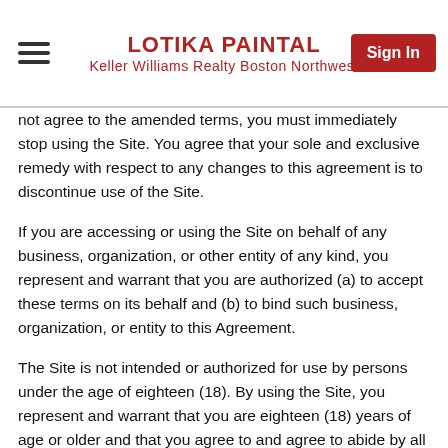LOTIKA PAINTAL
Keller Williams Realty Boston Northwest
not agree to the amended terms, you must immediately stop using the Site. You agree that your sole and exclusive remedy with respect to any changes to this agreement is to discontinue use of the Site.
If you are accessing or using the Site on behalf of any business, organization, or other entity of any kind, you represent and warrant that you are authorized (a) to accept these terms on its behalf and (b) to bind such business, organization, or entity to this Agreement.
The Site is not intended or authorized for use by persons under the age of eighteen (18). By using the Site, you represent and warrant that you are eighteen (18) years of age or older and that you agree to and agree to abide by all of the terms and conditions of this Agreement. If we believe that you are under the age of eighteen (18) or that you are not old enough to consent to and be legally bound by this Agreement, we may, at any time, in our sole discretion, and with or without